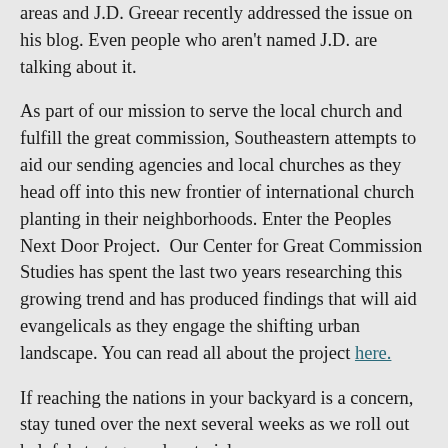areas and J.D. Greear recently addressed the issue on his blog. Even people who aren't named J.D. are talking about it.
As part of our mission to serve the local church and fulfill the great commission, Southeastern attempts to aid our sending agencies and local churches as they head off into this new frontier of international church planting in their neighborhoods. Enter the Peoples Next Door Project.  Our Center for Great Commission Studies has spent the last two years researching this growing trend and has produced findings that will aid evangelicals as they engage the shifting urban landscape. You can read all about the project here.
If reaching the nations in your backyard is a concern, stay tuned over the next several weeks as we roll out helpful strategy and materials.
Payne's book